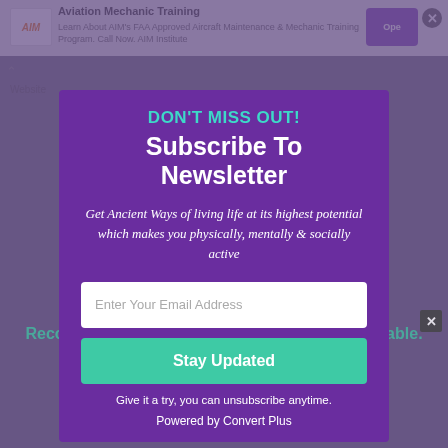[Figure (screenshot): Background webpage content showing an aviation mechanic training advertisement at top, with dimmed website content beneath a newsletter subscription modal overlay]
DON'T MISS OUT!
Subscribe To Newsletter
Get Ancient Ways of living life at its highest potential which makes you physically, mentally & socially active
Enter Your Email Address
Stay Updated
Give it a try, you can unsubscribe anytime.
Powered by Convert Plus